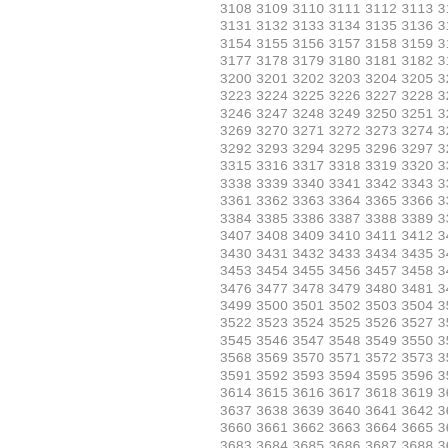3108 3109 3110 3111 3112 3113 3114 3115 31... 3131 3132 3133 3134 3135 3136 3137 3138 31... 3154 3155 3156 3157 3158 3159 3160 3161 31... 3177 3178 3179 3180 3181 3182 3183 3184 31... 3200 3201 3202 3203 3204 3205 3206 3207 32... 3223 3224 3225 3226 3227 3228 3229 3230 32... 3246 3247 3248 3249 3250 3251 3252 3253 32... 3269 3270 3271 3272 3273 3274 3275 3276 32... 3292 3293 3294 3295 3296 3297 3298 3299 33... 3315 3316 3317 3318 3319 3320 3321 3322 33... 3338 3339 3340 3341 3342 3343 3344 3345 33... 3361 3362 3363 3364 3365 3366 3367 3368 33... 3384 3385 3386 3387 3388 3389 3390 3391 33... 3407 3408 3409 3410 3411 3412 3413 3414 34... 3430 3431 3432 3433 3434 3435 3436 3437 34... 3453 3454 3455 3456 3457 3458 3459 3460 34... 3476 3477 3478 3479 3480 3481 3482 3483 34... 3499 3500 3501 3502 3503 3504 3505 3506 35... 3522 3523 3524 3525 3526 3527 3528 3529 35... 3545 3546 3547 3548 3549 3550 3551 3552 35... 3568 3569 3570 3571 3572 3573 3574 3575 35... 3591 3592 3593 3594 3595 3596 3597 3598 35... 3614 3615 3616 3617 3618 3619 3620 3621 36... 3637 3638 3639 3640 3641 3642 3643 3644 36... 3660 3661 3662 3663 3664 3665 3666 3667 36... 3683 3684 3685 3686 3687 3688 3689 3690 36... 3706 3707 3708 3709 3710 3711 3712 3713 37... 3729 3730 3731 3732 3733 3734 3735 3736 37...